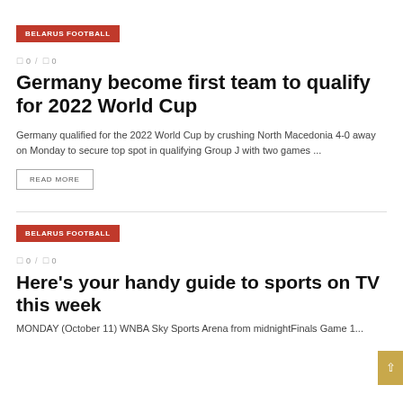BELARUS FOOTBALL
0 / 0
Germany become first team to qualify for 2022 World Cup
Germany qualified for the 2022 World Cup by crushing North Macedonia 4-0 away on Monday to secure top spot in qualifying Group J with two games ...
READ MORE
BELARUS FOOTBALL
0 / 0
Here's your handy guide to sports on TV this week
MONDAY (October 11) WNBA Sky Sports Arena from midnightFinals Game 1...